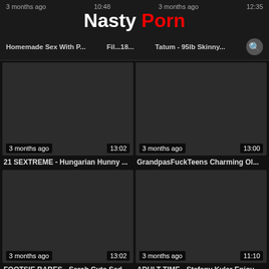NastyPorn
3 months ago  10:48  3 months ago  12:35
Homemade Sex With P...  Fil...18...  Tatum - 95lb Skinny...
[Figure (screenshot): Video thumbnail dark placeholder, 3 months ago, 13:02]
21 SEXTREME - Hungarian Hunny ...
[Figure (screenshot): Video thumbnail dark placeholder, 3 months ago, 13:00]
GrandpasFuckTeens Charming Ol...
[Figure (screenshot): Video thumbnail dark placeholder, 3 months ago, 13:02]
FOOTSIE BABES - Sarah Cute Sed...
[Figure (screenshot): Video thumbnail dark placeholder, 3 months ago, 11:10]
ADULT TIME - Stefany Kyler Enjoy...
[Figure (screenshot): Video thumbnail dark placeholder, bottom row left]
[Figure (screenshot): Video thumbnail dark placeholder, bottom row right]
UP